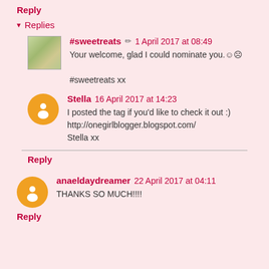Reply
▾ Replies
#sweetreats ✏ 1 April 2017 at 08:49
Your welcome, glad I could nominate you.☺☹

#sweetreats xx
Stella  16 April 2017 at 14:23
I posted the tag if you'd like to check it out :)
http://onegirlblogger.blogspot.com/
Stella xx
Reply
anaeldaydreamer  22 April 2017 at 04:11
THANKS SO MUCH!!!!
Reply